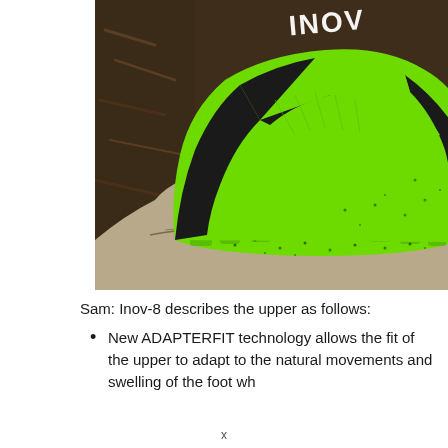[Figure (photo): Close-up photo of a bright neon green Inov-8 running shoe sole/upper resting on a large gray rock, with wood chip mulch visible in the background. The shoe shows the 'INOV-8' branding on the upper in white lettering, with black geometric design elements on the neon green mesh upper.]
Sam: Inov-8 describes the upper as follows:
New ADAPTERFIT technology allows the fit of the upper to adapt to the natural movements and swelling of the foot wh...